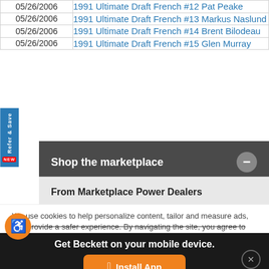| Date | Item |
| --- | --- |
| 05/26/2006 | 1991 Ultimate Draft French #12 Pat Peake |
| 05/26/2006 | 1991 Ultimate Draft French #13 Markus Naslund |
| 05/26/2006 | 1991 Ultimate Draft French #14 Brent Bilodeau |
| 05/26/2006 | 1991 Ultimate Draft French #15 Glen Murray |
Shop the marketplace
From Marketplace Power Dealers
We use cookies to help personalize content, tailor and measure ads, and provide a safer experience. By navigating the site, you agree to the use of cookies to collect information about your visits on our
Get Beckett on your mobile device.
Install App